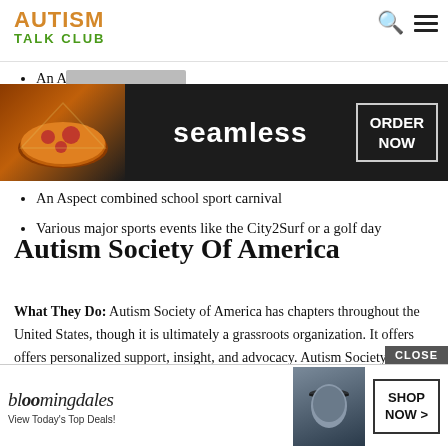AUTISM TALK CLUB
An A...
An Aspect combined school sport carnival
Various major sports events like the City2Surf or a golf day
[Figure (screenshot): Seamless food delivery advertisement with pizza image and ORDER NOW button on dark background]
Autism Society Of America
What They Do: Autism Society of America has chapters throughout the United States, though it is ultimately a grassroots organization. It offers  offers personalized support, insight, and advocacy. Autism Society of America also ru... recom...
[Figure (screenshot): Bloomingdale's advertisement with View Today's Top Deals text and SHOP NOW button with CLOSE button]